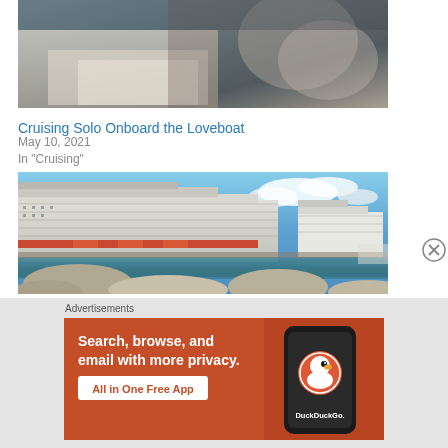[Figure (photo): Person reading a magazine or brochure, hands visible, white fabric background]
Cruising Solo Onboard the Loveboat
May 10, 2021
In "Cruising"
[Figure (photo): Large cruise ship docked at port with rocky shoreline in foreground, blue sky with clouds, another ship visible in background]
Advertisements
[Figure (infographic): DuckDuckGo advertisement banner. Orange background. Text: Search, browse, and email with more privacy. All in One Free App. Shows a smartphone with DuckDuckGo logo and wordmark.]